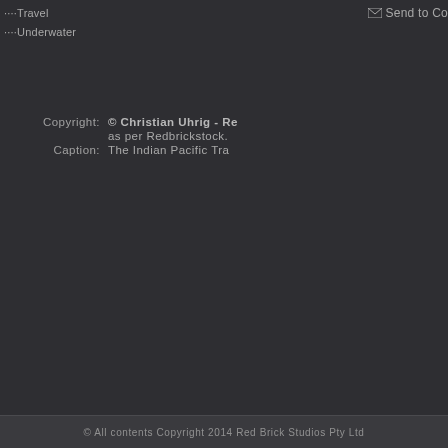Travel
Underwater
Send to Co
Copyright: © Christian Uhrig - Re as per Redbrickstock.
Caption: The Indian Pacific Tra
© All contents Copyright 2014 Red Brick Studios Pty Ltd